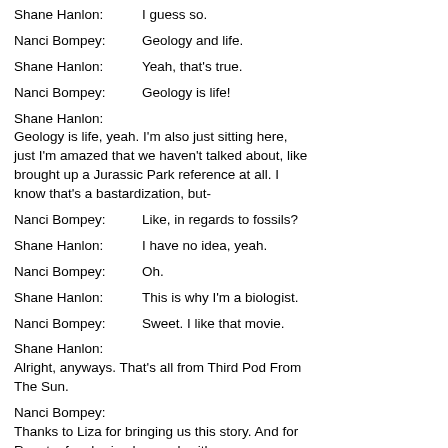Shane Hanlon: I guess so.
Nanci Bompey: Geology and life.
Shane Hanlon: Yeah, that's true.
Nanci Bompey: Geology is life!
Shane Hanlon: Geology is life, yeah. I'm also just sitting here, just I'm amazed that we haven't talked about, like brought up a Jurassic Park reference at all. I know that's a bastardization, but-
Nanci Bompey: Like, in regards to fossils?
Shane Hanlon: I have no idea, yeah.
Nanci Bompey: Oh.
Shane Hanlon: This is why I'm a biologist.
Nanci Bompey: Sweet. I like that movie.
Shane Hanlon: Alright, anyways. That's all from Third Pod From The Sun.
Nanci Bompey: Thanks to Liza for bringing us this story. And for Renata, for sharing her work with us.
Shane Hanlon: This podcast is also produced with help from Josh Speiser, Olivia Ambrogio, Laura Linuma, and Katie-